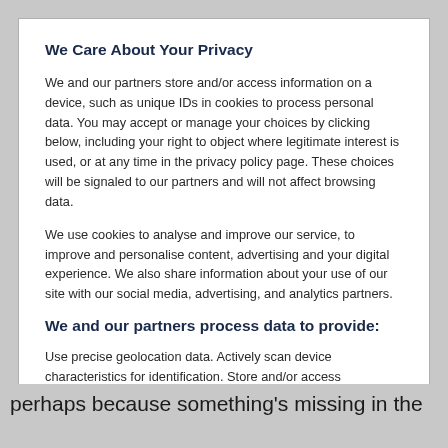We Care About Your Privacy
We and our partners store and/or access information on a device, such as unique IDs in cookies to process personal data. You may accept or manage your choices by clicking below, including your right to object where legitimate interest is used, or at any time in the privacy policy page. These choices will be signaled to our partners and will not affect browsing data.
We use cookies to analyse and improve our service, to improve and personalise content, advertising and your digital experience. We also share information about your use of our site with our social media, advertising, and analytics partners.
We and our partners process data to provide:
Use precise geolocation data. Actively scan device characteristics for identification. Store and/or access information on a device. Personalised ads and content, ad and content measurement, audience insights and product development.
List of Partners (vendors)
perhaps because something's missing in the